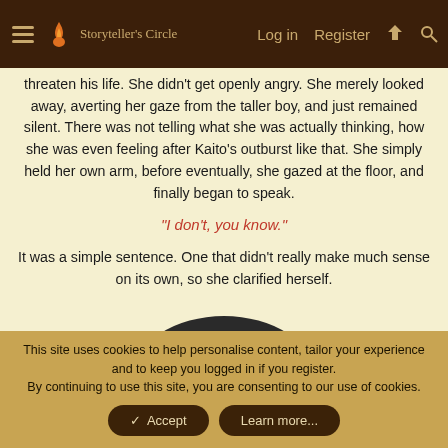Storyteller's Circle | Log in | Register
threaten his life. She didn't get openly angry. She merely looked away, averting her gaze from the taller boy, and just remained silent. There was not telling what she was actually thinking, how she was even feeling after Kaito's outburst like that. She simply held her own arm, before eventually, she gazed at the floor, and finally began to speak.
"I don't, you know."
It was a simple sentence. One that didn't really make much sense on its own, so she clarified herself.
[Figure (photo): Partial view of a character's head/hat area, dark colored, bottom portion of the page]
This site uses cookies to help personalise content, tailor your experience and to keep you logged in if you register. By continuing to use this site, you are consenting to our use of cookies.